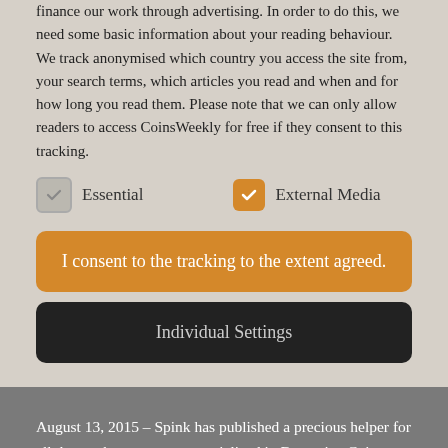finance our work through advertising. In order to do this, we need some basic information about your reading behaviour. We track anonymised which country you access the site from, your search terms, which articles you read and when and for how long you read them. Please note that we can only allow readers to access CoinsWeekly for free if they consent to this tracking.
Essential   External Media (checkboxes)
I consent to the tracking to the extent agreed.
Individual Settings
August 13, 2015 – Spink has published a precious helper for all those who are not yet specialized in Byzantine Coins. The Beginner's Guide shows how to describe and identify these